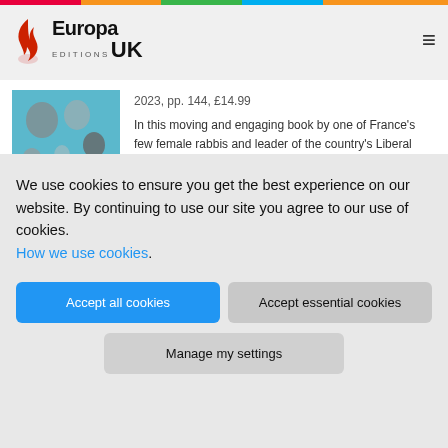Europa Editions UK
[Figure (photo): Cover of 'Living With Our Dead' book — teal background with small stone-like shapes]
2023, pp. 144, £14.99
In this moving and engaging book by one of France's few female rabbis and leader of the country's Liberal Jewish Movement, Delphine Horvilleur...
[Figure (photo): Cover of 'The Passenger: Space' book — grey/blue cover with title text]
AA.VV.
The Passenger: Space
We use cookies to ensure you get the best experience on our website. By continuing to use our site you agree to our use of cookies.
How we use cookies.
Accept all cookies
Accept essential cookies
Manage my settings